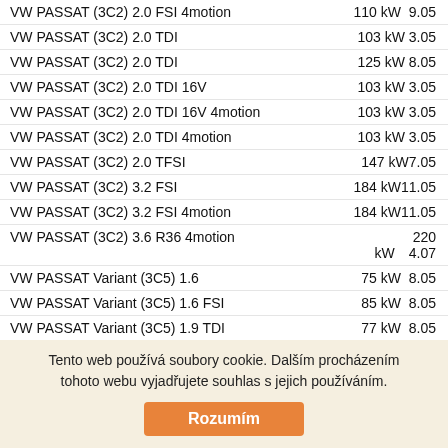VW PASSAT (3C2) 2.0 FSI 4motion   110 kW 9.05
VW PASSAT (3C2) 2.0 TDI   103 kW 3.05
VW PASSAT (3C2) 2.0 TDI   125 kW 8.05
VW PASSAT (3C2) 2.0 TDI 16V   103 kW 3.05
VW PASSAT (3C2) 2.0 TDI 16V 4motion   103 kW 3.05
VW PASSAT (3C2) 2.0 TDI 4motion   103 kW 3.05
VW PASSAT (3C2) 2.0 TFSI   147 kW7.05
VW PASSAT (3C2) 3.2 FSI   184 kW11.05
VW PASSAT (3C2) 3.2 FSI 4motion   184 kW11.05
VW PASSAT (3C2) 3.6 R36 4motion   220 kW 4.07
VW PASSAT Variant (3C5) 1.6   75 kW 8.05
VW PASSAT Variant (3C5) 1.6 FSI   85 kW 8.05
VW PASSAT Variant (3C5) 1.9 TDI   77 kW 8.05
VW PASSAT Variant (3C5) 2.0 FSI   110 kW 8.05
VW PASSAT Variant (3C5) 2.0 FSI 4motion   110 kW 9.05
VW PASSAT Variant (3C5) 2.0 TDI   90 kW 8.05
VW PASSAT Variant (3C5) 2.0 TDI   100 kW8.05
VW PASSAT Variant (3C5) 2.0 TDI   103 kW 8.05
Tento web používá soubory cookie. Dalším procházením tohoto webu vyjadřujete souhlas s jejich používáním.
Rozumím